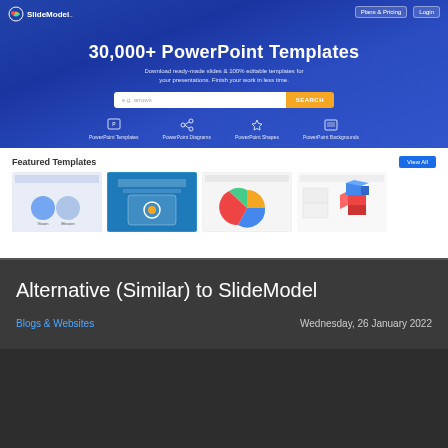[Figure (screenshot): SlideModel website hero banner with blue gradient background, showing '30,000+ PowerPoint Templates' headline, subtitle text, search bar with orange Search button, and four icon links: PowerPoint Templates, PowerPoint Diagrams, PowerPoint Shapes, PowerPoint Backgrounds]
[Figure (screenshot): SlideModel Featured Templates section showing four template thumbnail images with a 'View All' blue button in top right]
Alternative (Similar) to SlideModel
Blogs & Websites
Wednesday, 26 January 2022